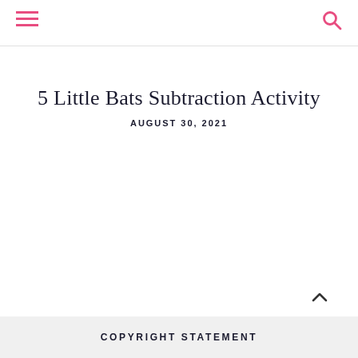[hamburger menu icon] [search icon]
5 Little Bats Subtraction Activity
AUGUST 30, 2021
COPYRIGHT STATEMENT